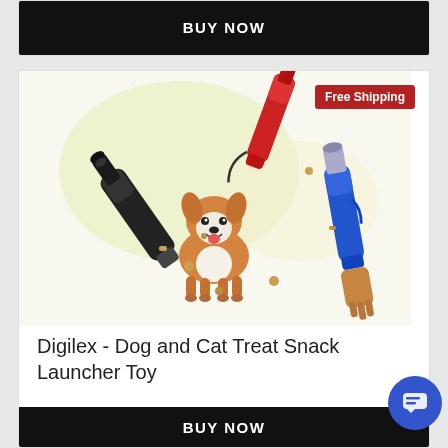[Figure (screenshot): BUY NOW button (black) at top of page, partial product card]
[Figure (photo): Product image showing three treat launcher toys (black, red, blue) and a corgi dog catching treats]
Free Shipping
Digilex - Dog and Cat Treat Snack Launcher Toy
$39.00
[Figure (screenshot): BUY NOW button (black) at bottom of product card]